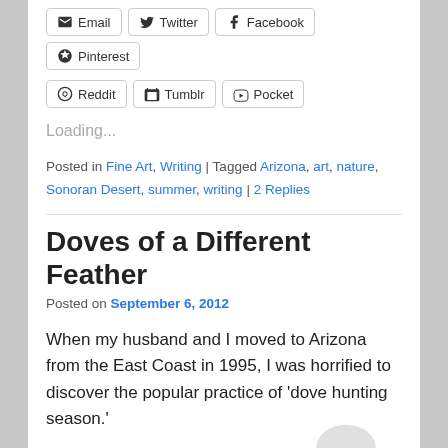[Figure (other): Social share buttons row: Email, Twitter, Facebook, Pinterest]
[Figure (other): Social share buttons row: Reddit, Tumblr, Pocket]
Loading...
Posted in Fine Art, Writing | Tagged Arizona, art, nature, Sonoran Desert, summer, writing | 2 Replies
Doves of a Different Feather
Posted on September 6, 2012
When my husband and I moved to Arizona from the East Coast in 1995, I was horrified to discover the popular practice of ‘dove hunting season.’